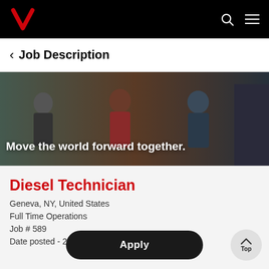Verizon navigation bar with logo, search, and menu icons
< Job Description
[Figure (photo): Verizon employees promotional banner with text 'Move the world forward together.']
Diesel Technician
Geneva, NY, United States
Full Time Operations
Job # 589...
Date posted - 2022-01-13